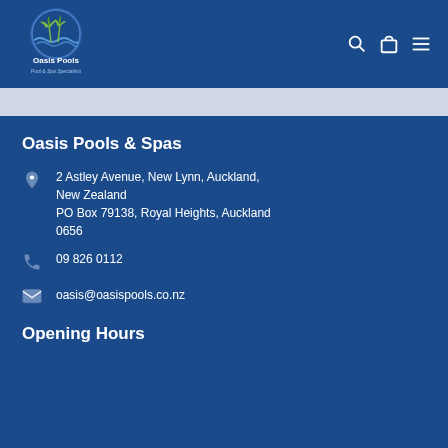[Figure (logo): Oasis Pools logo with palm trees and waves, tagline Pool & Spa Specialists]
Oasis Pools & Spas
2 Astley Avenue, New Lynn, Auckland, New Zealand
PO Box 79138, Royal Heights, Auckland 0656
09 826 0112
oasis@oasispools.co.nz
Opening Hours